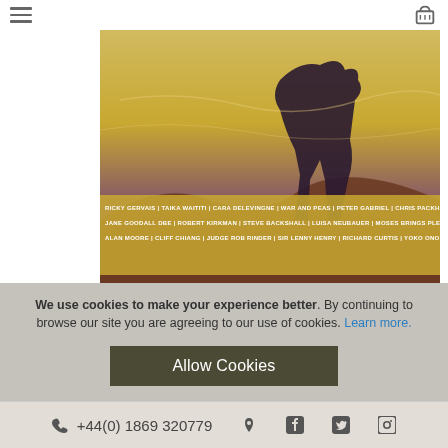Navigation bar with hamburger menu and cart icon
[Figure (illustration): Book cover for 'The Most Important Comic Book on Earth: Stories to Save the World by DK'. Illustrated cover showing a large animal silhouette against a dramatic golden and purple sunset landscape with birds. Text overlay lists contributors: RICKY GERVAIS | TAIKA WAITITI | CARA DELEVINGNE | WAR AND PEAS | PETER GABRIEL | CHRIS PACKHAM | JANE GOODALL DBE | ROBERT KIRKMAN | STEVE BACKSHALL | LUISA NEUBAUER | MOSES BRINGS PLENTY | ALAN MOORE | CLIFF CHIANG | JUDGE ROB RINDER | SIR LENNY HENRY | RICHARD CURTIS | YOKO ONO]
The Most Important Comic Book on Earth: Stories to Save the World by DK
We use cookies to make your experience better. By continuing to browse our site you are agreeing to our use of cookies. Learn more.
Allow Cookies
+44(0) 1869 320779